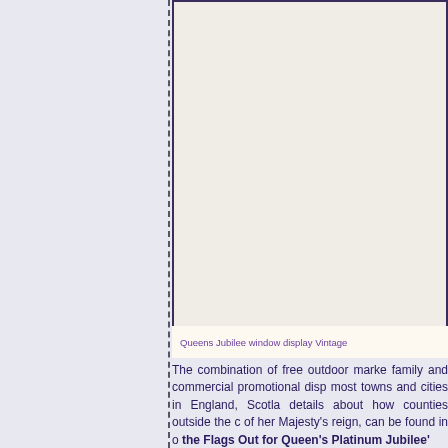[Figure (photo): Queens Jubilee window display Vintage — a large framed photograph or display image occupying the upper right portion of the page, with a light cream/beige background inside a dark bordered frame.]
Queens Jubilee window display Vintage
The combination of free outdoor marke family and commercial promotional disp most towns and cities in England, Scotla details about how counties outside the c of her Majesty's reign, can be found in o the Flags Out for Queen's Platinum Jubilee'